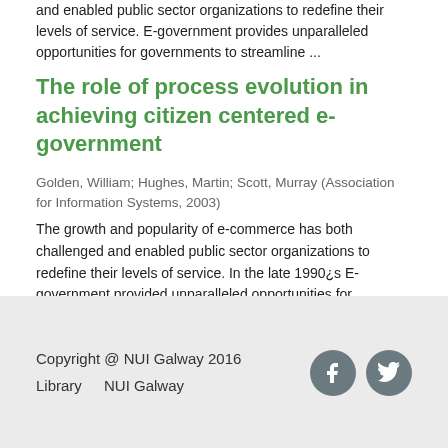and enabled public sector organizations to redefine their levels of service. E-government provides unparalleled opportunities for governments to streamline ...
The role of process evolution in achieving citizen centered e-government
Golden, William; Hughes, Martin; Scott, Murray (Association for Information Systems, 2003)
The growth and popularity of e-commerce has both challenged and enabled public sector organizations to redefine their levels of service. In the late 1990¿s E-government provided unparalleled opportunities for governments ...
[Figure (other): Navigation buttons with left and right arrows]
Copyright @ NUI Galway 2016
Library   NUI Galway